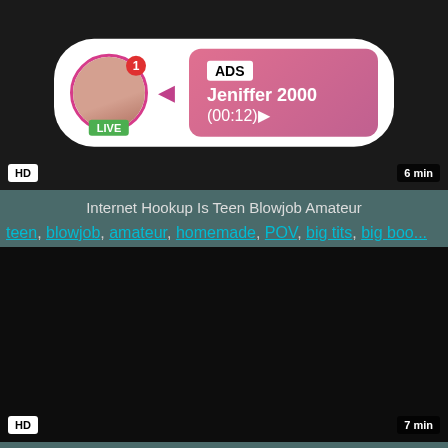[Figure (screenshot): Video thumbnail with dark background, HD badge bottom-left, 6 min badge bottom-right, ad overlay showing avatar with LIVE badge, notification badge with 1, and pink gradient info box with ADS label, name Jeniffer 2000, and time (00:12)]
Internet Hookup Is Teen Blowjob Amateur
teen, blowjob, amateur, homemade, POV, big tits, big boo...
[Figure (screenshot): Dark/black video thumbnail, HD badge bottom-left, 7 min badge bottom-right]
Money For Teen Cali Teen Hardcore Rough sex